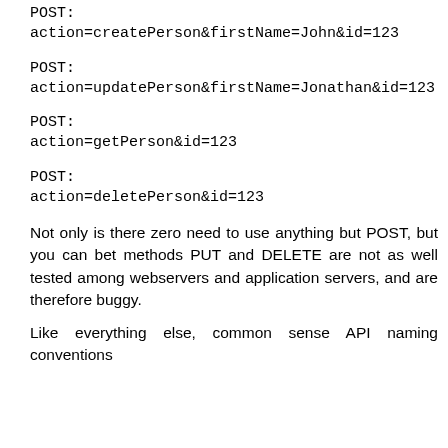POST:
action=createPerson&firstName=John&id=123
POST:
action=updatePerson&firstName=Jonathan&id=123
POST:
action=getPerson&id=123
POST:
action=deletePerson&id=123
Not only is there zero need to use anything but POST, but you can bet methods PUT and DELETE are not as well tested among webservers and application servers, and are therefore buggy.
Like everything else, common sense API naming conventions